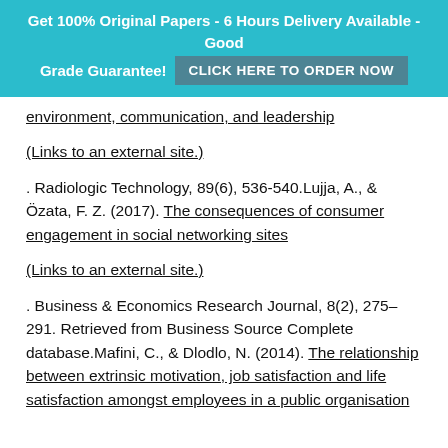Get 100% Original Papers - 6 Hours Delivery Available - Good Grade Guarantee! CLICK HERE TO ORDER NOW
environment, communication, and leadership (Links to an external site.) . Radiologic Technology, 89(6), 536-540.Lujja, A., & Özata, F. Z. (2017). The consequences of consumer engagement in social networking sites (Links to an external site.) . Business & Economics Research Journal, 8(2), 275–291. Retrieved from Business Source Complete database.Mafini, C., & Dlodlo, N. (2014). The relationship between extrinsic motivation, job satisfaction and life satisfaction amongst employees in a public organisation